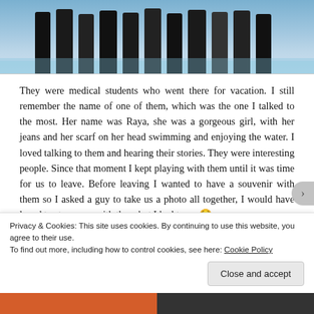[Figure (photo): Group photo of people standing in shallow ocean water at a beach, cropped to show lower bodies from waist down, wearing dark clothing]
They were medical students who went there for vacation. I still remember the name of one of them, which was the one I talked to the most. Her name was Raya, she was a gorgeous girl, with her jeans and her scarf on her head swimming and enjoying the water. I loved talking to them and hearing their stories. They were interesting people. Since that moment I kept playing with them until it was time for us to leave. Before leaving I wanted to have a souvenir with them so I asked a guy to take us a photo all together, I would have loved to stay more with them but I had to go 😟
Privacy & Cookies: This site uses cookies. By continuing to use this website, you agree to their use.
To find out more, including how to control cookies, see here: Cookie Policy
Close and accept